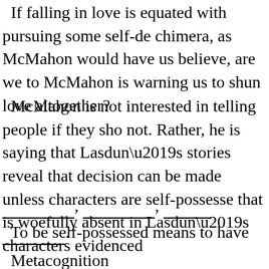If falling in love is equated with pursuing some self-de chimera, as McMahon would have us believe, are we to McMahon is warning us to shun love altogether?
McMahon is not interested in telling people if they sho not. Rather, he is saying that Lasdun’s stories reveal that decision can be made unless characters are self-possesse that is woefully absent in Lasdun’s characters evidenced
_______________, _______________, __________ _______________.
To be self-possessed means to have
Metacognition